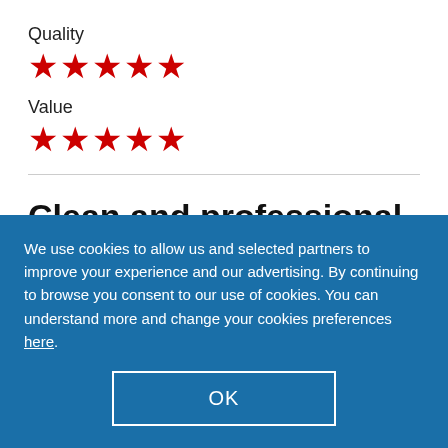Quality
[Figure (other): 5 red stars rating for Quality]
Value
[Figure (other): 5 red stars rating for Value]
Clean and professional
We use cookies to allow us and selected partners to improve your experience and our advertising. By continuing to browse you consent to our use of cookies. You can understand more and change your cookies preferences here.
OK